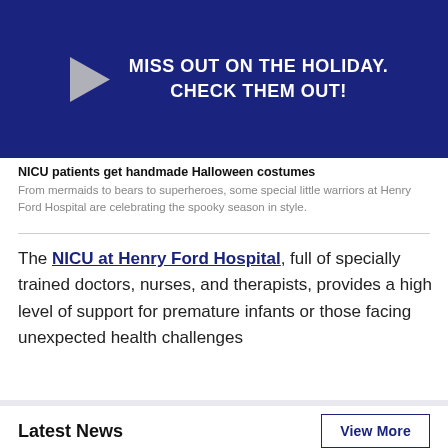[Figure (illustration): Dark blue banner with white bold text reading 'MISS OUT ON THE HOLIDAY. CHECK THEM OUT!' and a grey play button triangle on the left.]
NICU patients get handmade Halloween costumes
From mermaids to bears to superheroes, some special little warriors at Henry Ford Hospital are celebrating the spooky season in style.
The NICU at Henry Ford Hospital, full of specially trained doctors, nurses, and therapists, provides a high level of support for premature infants or those facing unexpected health challenges
Latest News
View More